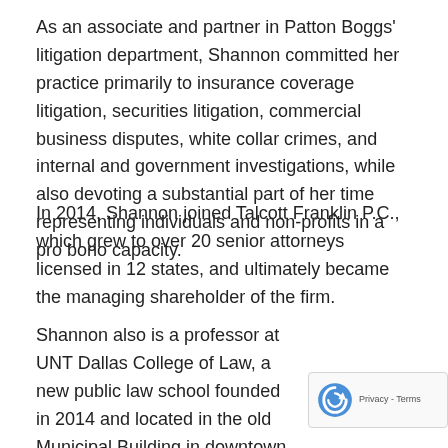As an associate and partner in Patton Boggs' litigation department, Shannon committed her practice primarily to insurance coverage litigation, securities litigation, commercial business disputes, white collar crimes, and internal and government investigations, while also devoting a substantial part of her time representing individuals and non-profits in a pro bono capacity.
In 2014, Shannon joined Talcott Franklin P.C., which grew to over 20 senior attorneys licensed in 12 states, and ultimately became the managing shareholder of the firm.
Shannon also is a professor at UNT Dallas College of Law, a new public law school founded in 2014 and located in the old Municipal Building in downtown Dallas. Shannon sought to join UNT Dallas College of Law because she strongly believes in its mission to widen access to legal education for the people and the surrounding...